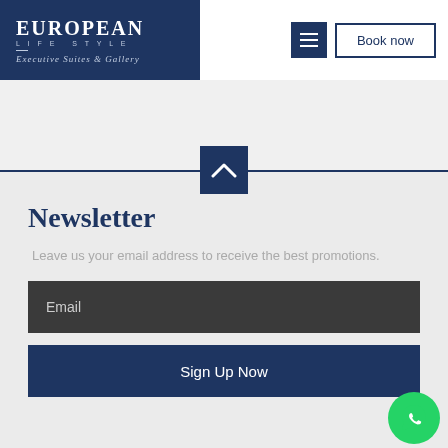[Figure (logo): European Life Style Executive Suites & Gallery logo on dark navy background]
Book now
[Figure (infographic): Dark navy chevron/up-arrow button centered on a horizontal divider line]
Newsletter
Leave us your email address to receive the best promotions.
Email
Sign Up Now